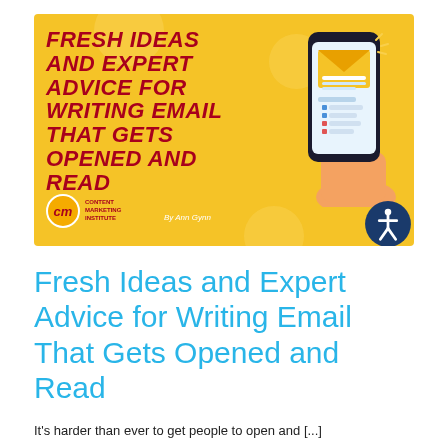[Figure (illustration): Banner image for Content Marketing Institute article. Yellow background with orange/gold decorative circles. Bold red italic text reads 'FRESH IDEAS AND EXPERT ADVICE FOR WRITING EMAIL THAT GETS OPENED AND READ'. Right side shows a hand holding a smartphone with an open envelope/email illustration on the screen. Bottom left shows the CMI logo (orange circle with 'cm' text and 'Content Marketing Institute' label). Center bottom reads 'By Ann Gynn'. Bottom right has a blue accessibility icon circle.]
Fresh Ideas and Expert Advice for Writing Email That Gets Opened and Read
It's harder than ever to get people to open and [...]